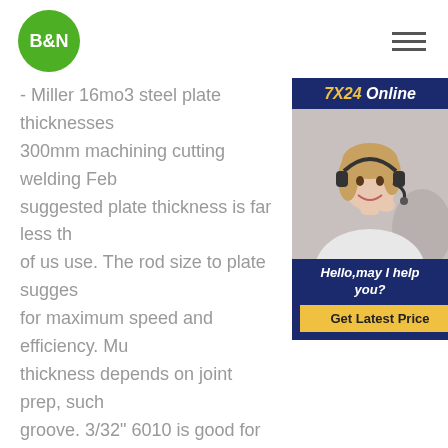[Figure (logo): B&N logo: green circle with white bold text 'B&N']
[Figure (other): Hamburger menu icon (three horizontal lines)]
- Miller 16mo3 steel plate thicknesses 300mm machining cutting welding Feb suggested plate thickness is far less th of us use. The rod size to plate sugges for maximum speed and efficiency. Mu thickness depends on joint prep, such groove. 3/32" 6010 is good for 14g up 1/8" 6010 good for 1/8" up to about 1/4 good for 1/4" up to 1/2".
[Figure (other): 7X24 Online customer service advertisement box with a woman wearing a headset, text 'Hello,may I help you?' and a 'Get Latest Price' button]
welding machine pricestud welding machinemiller welding machinesbuy steel for weldingsteel welding table bitmachine and welding nsWhat is